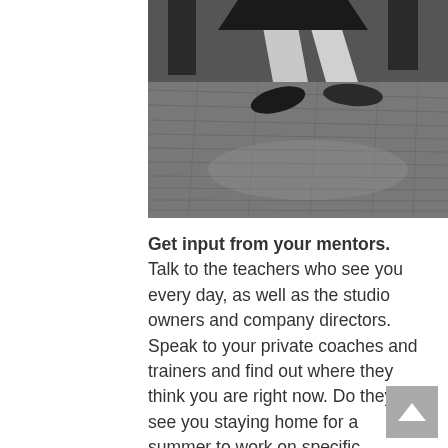[Figure (photo): Black and white photograph of a dancer's legs and feet on a wooden floor, mid-step, wearing dance shoes. Other figures visible in background.]
Get input from your mentors. Talk to the teachers who see you every day, as well as the studio owners and company directors. Speak to your private coaches and trainers and find out where they think you are right now. Do they see you staying home for a summer to work on specific things? Are they thinking you'd